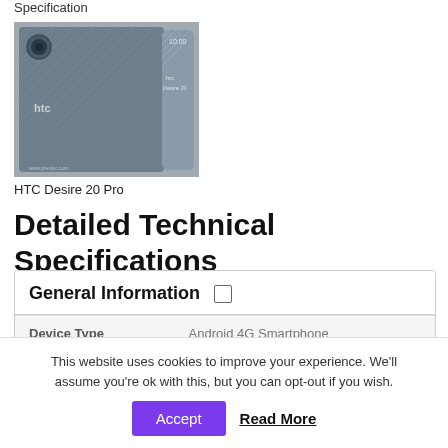Specification
[Figure (photo): HTC Desire 20 Pro smartphone product image showing the back of the device]
HTC Desire 20 Pro
Detailed Technical Specifications
|  |  |
| --- | --- |
| Device Type | Android 4G Smartphone |
| Brand & Model | HTC Desire 555 |
This website uses cookies to improve your experience. We'll assume you're ok with this, but you can opt-out if you wish.
Accept  Read More